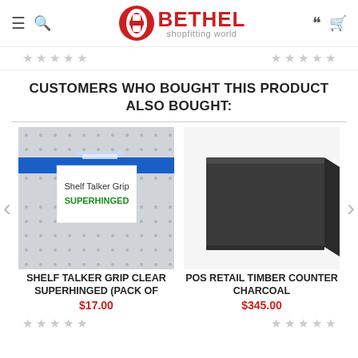Bethel Shopfitting World
CUSTOMERS WHO BOUGHT THIS PRODUCT ALSO BOUGHT:
[Figure (photo): Shelf Talker Grip Clear Superhinged product photo showing a clear plastic shelf talker grip mounted on a blue pegboard wall, with a white sign reading 'Shelf Talker Grip SUPERHINGED']
SHELF TALKER GRIP CLEAR SUPERHINGED (PACK OF
$17.00
[Figure (photo): POS Retail Timber Counter Charcoal product photo showing a dark charcoal/black rectangular retail counter on a white background]
POS RETAIL TIMBER COUNTER CHARCOAL
$345.00